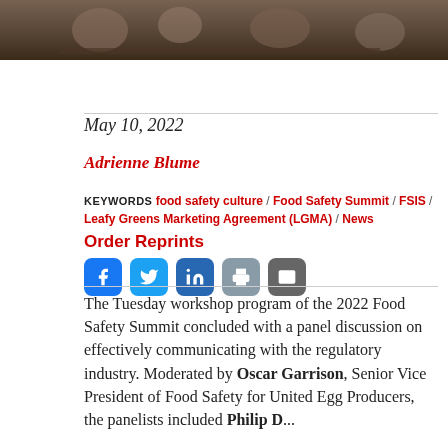[Figure (photo): Cropped photo of people seated at tables, likely at a conference or event setting]
May 10, 2022
Adrienne Blume
KEYWORDS food safety culture / Food Safety Summit / FSIS / Leafy Greens Marketing Agreement (LGMA) / News
Order Reprints
[Figure (other): Social media share buttons: Facebook, Twitter, LinkedIn, Print, Email]
The Tuesday workshop program of the 2022 Food Safety Summit concluded with a panel discussion on effectively communicating with the regulatory industry. Moderated by Oscar Garrison, Senior Vice President of Food Safety for United Egg Producers, the panelists included Philip D...